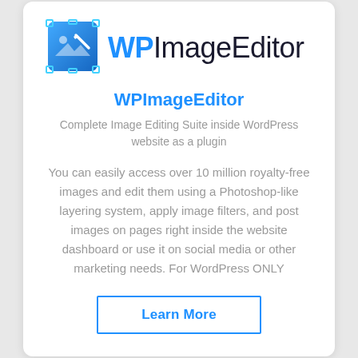[Figure (logo): WPImageEditor logo: blue square icon with image/pencil graphic and the text 'WPImageEditor' in blue and dark navy]
WPImageEditor
Complete Image Editing Suite inside WordPress website as a plugin
You can easily access over 10 million royalty-free images and edit them using a Photoshop-like layering system, apply image filters, and post images on pages right inside the website dashboard or use it on social media or other marketing needs. For WordPress ONLY